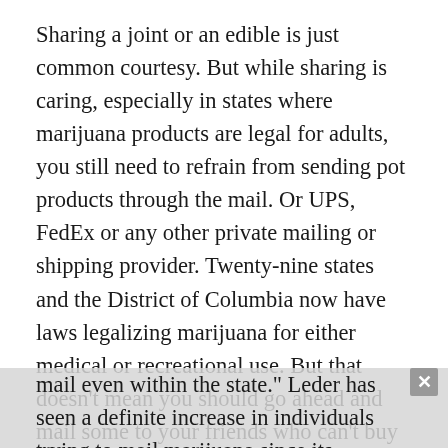Sharing a joint or an edible is just common courtesy. But while sharing is caring, especially in states where marijuana products are legal for adults, you still need to refrain from sending pot products through the mail. Or UPS, FedEx or any other private mailing or shipping provider. Twenty-nine states and the District of Columbia now have laws legalizing marijuana for either medical or recreational use. But that doesn’t mean you should go ahead and mail some to your friends who can’t buy it legally in other states. That also goes for trying to mail stuff within a state where weed and weed products are legal. “It is still illegal to mail it because marijuana is still illegal under federal statute,” said Jeremy Leder, a Postal Inspector with the United States Postal Service who covers Oregon and Washington. “It is also still illegal to mail even within the state.” Leder has seen a definite increase in individuals trying to mail marijuana since its